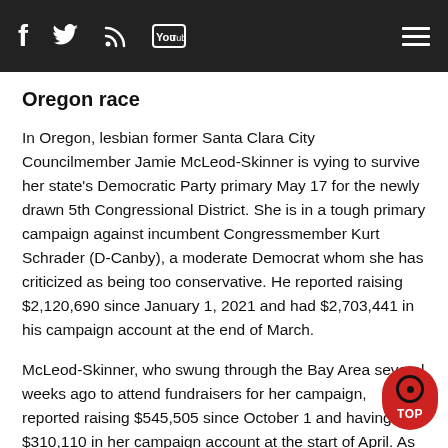f [twitter] [rss] [YouTube] [menu]
Oregon race
In Oregon, lesbian former Santa Clara City Councilmember Jamie McLeod-Skinner is vying to survive her state's Democratic Party primary May 17 for the newly drawn 5th Congressional District. She is in a tough primary campaign against incumbent Congressmember Kurt Schrader (D-Canby), a moderate Democrat whom she has criticized as being too conservative. He reported raising $2,120,690 since January 1, 2021 and had $2,703,441 in his campaign account at the end of March.
McLeod-Skinner, who swung through the Bay Area several weeks ago to attend fundraisers for her campaign, reported raising $545,505 since October 1 and having $310,110 in her campaign account at the start of April. As